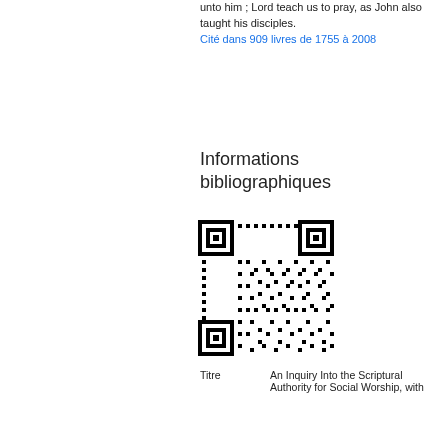unto him ; Lord teach us to pray, as John also taught his disciples. Cité dans 909 livres de 1755 à 2008
Informations bibliographiques
[Figure (other): QR code for bibliographic information]
| Titre | An Inquiry Into the Scriptural Authority for Social Worship, with |